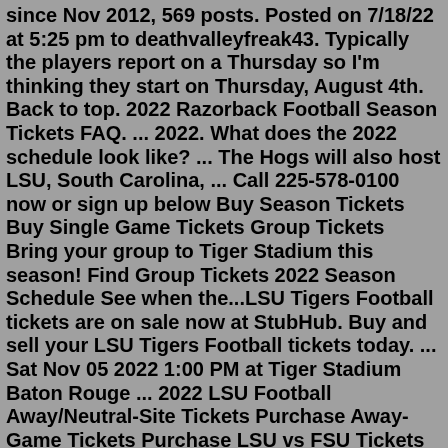since Nov 2012, 569 posts. Posted on 7/18/22 at 5:25 pm to deathvalleyfreak43. Typically the players report on a Thursday so I'm thinking they start on Thursday, August 4th. Back to top. 2022 Razorback Football Season Tickets FAQ. ... 2022. What does the 2022 schedule look like? ... The Hogs will also host LSU, South Carolina, ... Call 225-578-0100 now or sign up below Buy Season Tickets Buy Single Game Tickets Group Tickets Bring your group to Tiger Stadium this season! Find Group Tickets 2022 Season Schedule See when the...LSU Tigers Football tickets are on sale now at StubHub. Buy and sell your LSU Tigers Football tickets today. ... Sat Nov 05 2022 1:00 PM at Tiger Stadium Baton Rouge ... 2022 LSU Football Away/Neutral-Site Tickets Purchase Away-Game Tickets Purchase LSU vs FSU Tickets Sign Up for Geaux-Mail Season ticket holders may apply for away game tickets in the spring of each...2022 LSU Tigers Football Season Tickets - Season Package (Includes Tickets for all Regular Season Home Games) Tiger Stadium Baton Rouge, Baton Rouge,